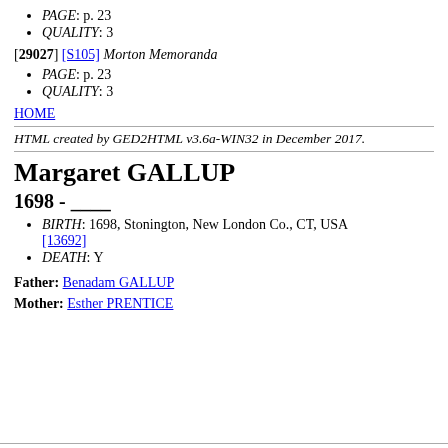PAGE: p. 23
QUALITY: 3
[29027] [S105] Morton Memoranda
PAGE: p. 23
QUALITY: 3
HOME
HTML created by GED2HTML v3.6a-WIN32 in December 2017.
Margaret GALLUP
1698 - ____
BIRTH: 1698, Stonington, New London Co., CT, USA [13692]
DEATH: Y
Father: Benadam GALLUP
Mother: Esther PRENTICE